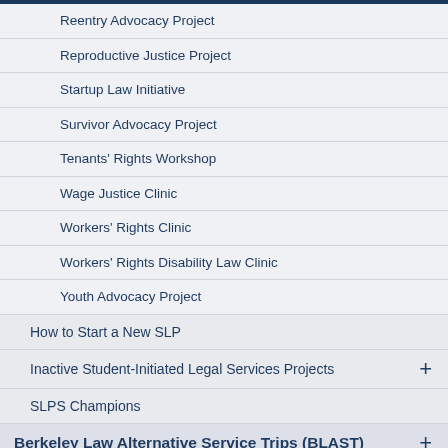Reentry Advocacy Project
Reproductive Justice Project
Startup Law Initiative
Survivor Advocacy Project
Tenants' Rights Workshop
Wage Justice Clinic
Workers' Rights Clinic
Workers' Rights Disability Law Clinic
Youth Advocacy Project
How to Start a New SLP
Inactive Student-Initiated Legal Services Projects
SLPS Champions
Berkeley Law Alternative Service Trips (BLAST)